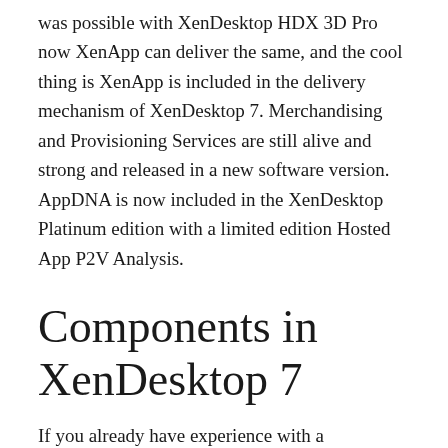was possible with XenDesktop HDX 3D Pro now XenApp can deliver the same, and the cool thing is XenApp is included in the delivery mechanism of XenDesktop 7. Merchandising and Provisioning Services are still alive and strong and released in a new software version. AppDNA is now included in the XenDesktop Platinum edition with a limited edition Hosted App P2V Analysis.
Components in XenDesktop 7
If you already have experience with a XenDesktop or XenApp environment, it will be helpful to you to identify the components introduced in this release and learn how they work and communicate with each other. Under the new architecture, XenDesktop and XenApp are unified,